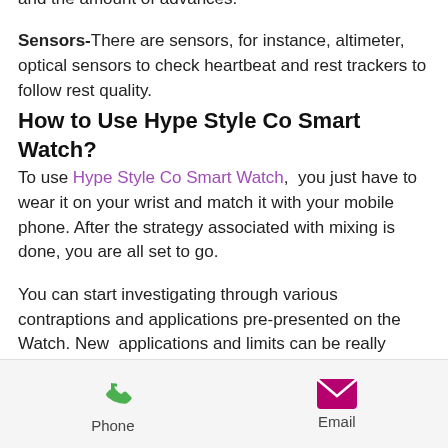phone application and converts it into miles walked and the amount of advances.
Sensors-There are sensors, for instance, altimeter, optical sensors to check heartbeat and rest trackers to follow rest quality.
How to Use Hype Style Co Smart Watch?
To use Hype Style Co Smart Watch,  you just have to wear it on your wrist and match it with your mobile  phone. After the strategy associated with mixing is done, you are all set to go.
You can start investigating through various contraptions and applications pre-presented on the Watch. New  applications and limits can be really downloaded through the application  store that comes in-created.
Phone  Email